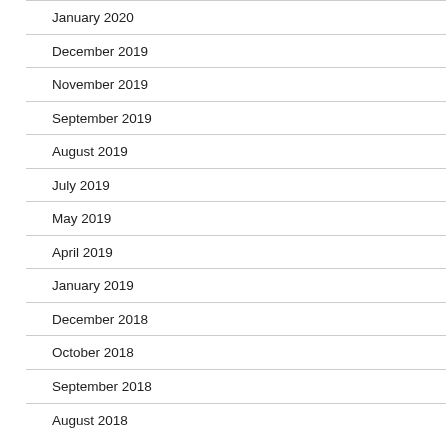January 2020
December 2019
November 2019
September 2019
August 2019
July 2019
May 2019
April 2019
January 2019
December 2018
October 2018
September 2018
August 2018